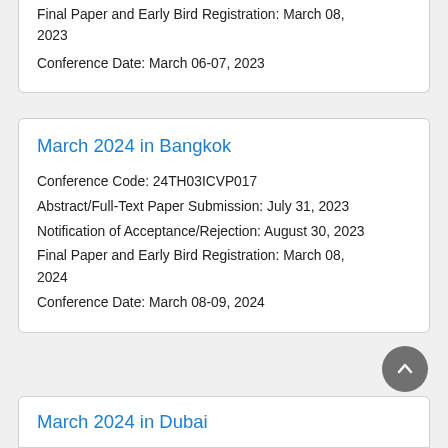Final Paper and Early Bird Registration: March 08, 2023
Conference Date: March 06-07, 2023
March 2024 in Bangkok
Conference Code: 24TH03ICVP017
Abstract/Full-Text Paper Submission: July 31, 2023
Notification of Acceptance/Rejection: August 30, 2023
Final Paper and Early Bird Registration: March 08, 2024
Conference Date: March 08-09, 2024
March 2024 in Dubai